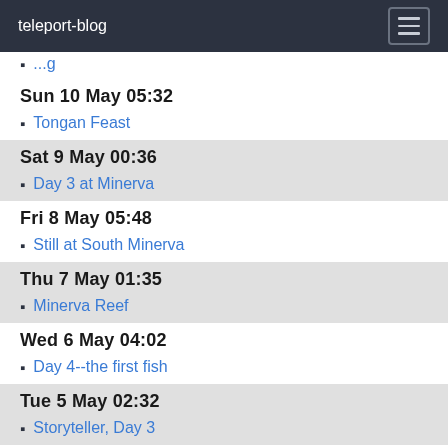teleport-blog
Sun 10 May 05:32
Tongan Feast
Sat 9 May 00:36
Day 3 at Minerva
Fri 8 May 05:48
Still at South Minerva
Thu 7 May 01:35
Minerva Reef
Wed 6 May 04:02
Day 4--the first fish
Tue 5 May 02:32
Storyteller, Day 3
Mon 4 May 02:46
Storyteller V, Day 2
Sat 2 May 06:12